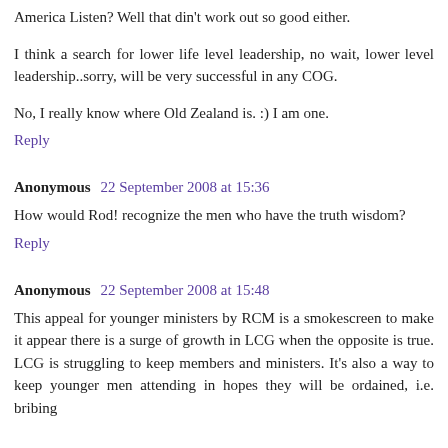America Listen? Well that din't work out so good either.
I think a search for lower life level leadership, no wait, lower level leadership..sorry, will be very successful in any COG.
No, I really know where Old Zealand is. :) I am one.
Reply
Anonymous 22 September 2008 at 15:36
How would Rod! recognize the men who have the truth wisdom?
Reply
Anonymous 22 September 2008 at 15:48
This appeal for younger ministers by RCM is a smokescreen to make it appear there is a surge of growth in LCG when the opposite is true. LCG is struggling to keep members and ministers. It's also a way to keep younger men attending in hopes they will be ordained, i.e. bribing